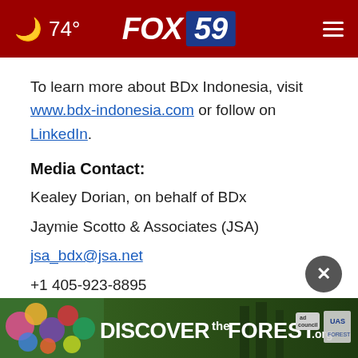74° FOX 59
To learn more about BDx Indonesia, visit www.bdx-indonesia.com or follow on LinkedIn.
Media Contact:
Kealey Dorian, on behalf of BDx
Jaymie Scotto & Associates (JSA)
jsa_bdx@jsa.net
+1 405-923-8895
[Figure (photo): Advertisement banner: DISCOVERtheFOREST.org with Ad Council and US Forest Service logos, forest background]